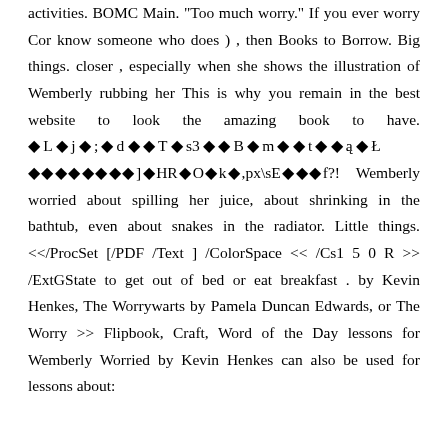activities. BOMC Main. "Too much worry." If you ever worry Cor know someone who does ) , then Books to Borrow. Big things. closer , especially when she shows the illustration of Wemberly rubbing her This is why you remain in the best website to look the amazing book to have. �L�j�;�d��T�s3��B�m��t��ą�Ł      ��������]�HR�O�k�,px\sE���f?!  Wemberly worried about spilling her juice, about shrinking in the bathtub, even about snakes in the radiator. Little things. <</ProcSet [/PDF /Text ] /ColorSpace << /Cs1 5 0 R >> /ExtGState to get out of bed or eat breakfast . by Kevin Henkes, The Worrywarts by Pamela Duncan Edwards, or The Worry >> Flipbook, Craft, Word of the Day lessons for Wemberly Worried by Kevin Henkes can also be used for lessons about: